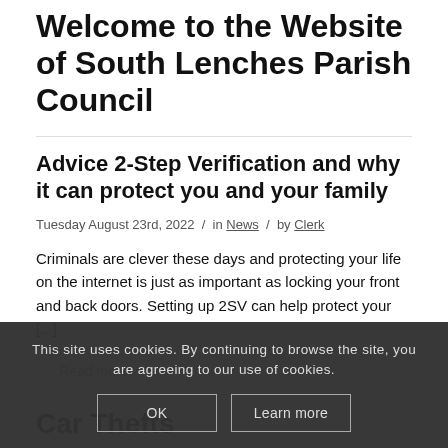Welcome to the Website of South Lenches Parish Council
Advice 2-Step Verification and why it can protect you and your family
Tuesday August 23rd, 2022 / in News / by Clerk
Criminals are clever these days and protecting your life on the internet is just as important as locking your front and back doors. Setting up 2SV can help protect your [...]
Read more ›
This site uses cookies. By continuing to browse the site, you are agreeing to our use of cookies.
OK
Learn more
Car Thefts